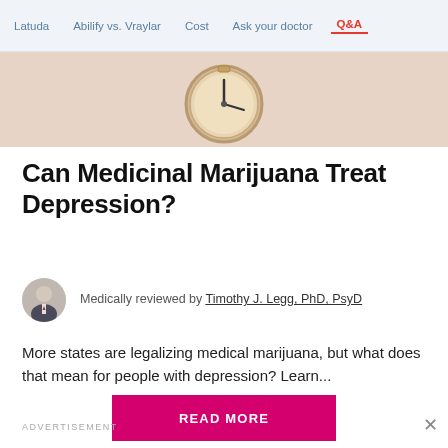Latuda | Abilify vs. Vraylar | Cost | Ask your doctor | Q&A
[Figure (photo): Hero image showing a close-up of a gold/brass antique pocket watch on a light pink/beige background]
Can Medicinal Marijuana Treat Depression?
Medically reviewed by Timothy J. Legg, PhD, PsyD
More states are legalizing medical marijuana, but what does that mean for people with depression? Learn...
READ MORE
ADVERTISEMENT